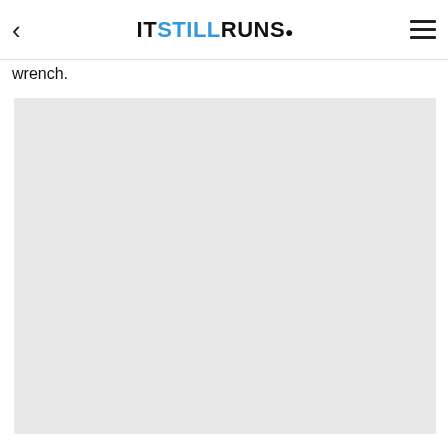IT STILL RUNS.
wrench.
[Figure (photo): Large light gray placeholder image area, likely an automotive-related photo]